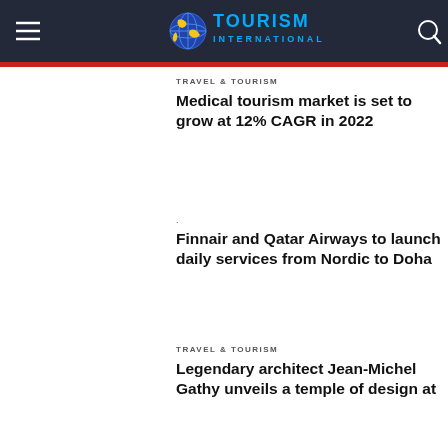[Figure (logo): Tourism International logo with globe icon and text]
TRAVEL & TOURISM
Medical tourism market is set to grow at 12% CAGR in 2022
.
Finnair and Qatar Airways to launch daily services from Nordic to Doha
TRAVEL & TOURISM
Legendary architect Jean-Michel Gathy unveils a temple of design at